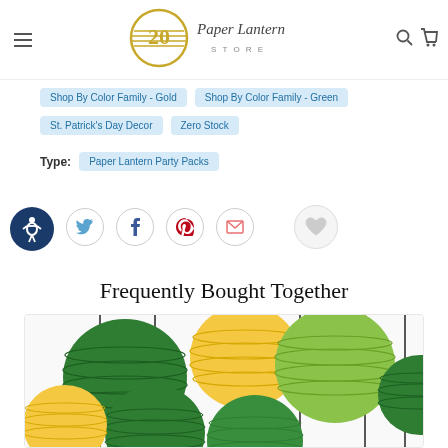Paper Lantern Store - navigation header with hamburger menu, logo, search and cart icons
Shop By Color Family - Gold
Shop By Color Family - Green
St. Patrick's Day Decor
Zero Stock
Type: Paper Lantern Party Packs
[Figure (infographic): Social share buttons: Twitter, Facebook, Pinterest, Email, and a heart/wishlist button. Also an accessibility icon (wheelchair symbol in dark blue circle).]
Frequently Bought Together
[Figure (photo): Photo of multiple paper lanterns in green, yellow/gold, and lime green colors hanging from vertical rods against a white background.]